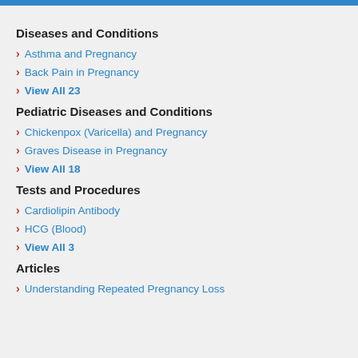Diseases and Conditions
Asthma and Pregnancy
Back Pain in Pregnancy
View All 23
Pediatric Diseases and Conditions
Chickenpox (Varicella) and Pregnancy
Graves Disease in Pregnancy
View All 18
Tests and Procedures
Cardiolipin Antibody
HCG (Blood)
View All 3
Articles
Understanding Repeated Pregnancy Loss